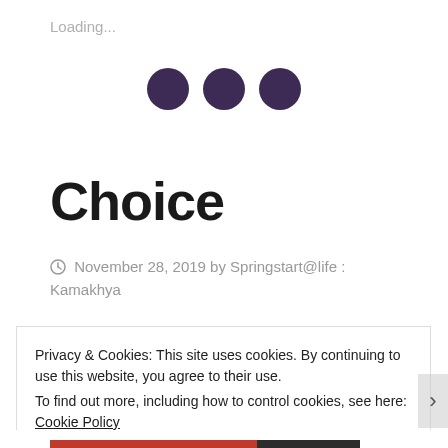Loading...
[Figure (other): Three dark purple filled circles arranged horizontally, resembling a loading indicator or ellipsis animation]
Choice
November 28, 2019 by Springstart@life : Kamakhya
Privacy & Cookies: This site uses cookies. By continuing to use this website, you agree to their use.
To find out more, including how to control cookies, see here: Cookie Policy
Close and accept